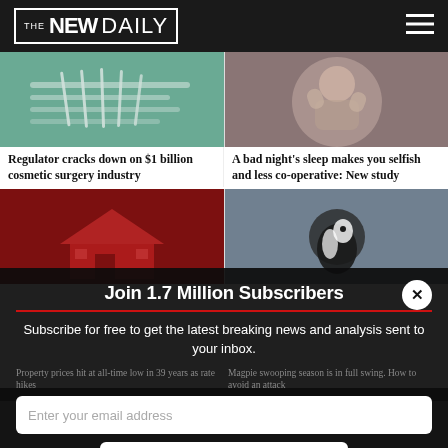THE NEW DAILY
[Figure (photo): Surgical instruments on green cloth]
Regulator cracks down on $1 billion cosmetic surgery industry
[Figure (photo): Person with head in hands, sleep deprivation]
A bad night's sleep makes you selfish and less co-operative: New study
[Figure (photo): Red house property image]
[Figure (photo): Black and white magpie bird]
Join 1.7 Million Subscribers
Subscribe for free to get the latest breaking news and analysis sent to your inbox.
Property prices hit an all-time low in 39 years as rate hikes
Magpie swooping season is in full swing. How to avoid an attack